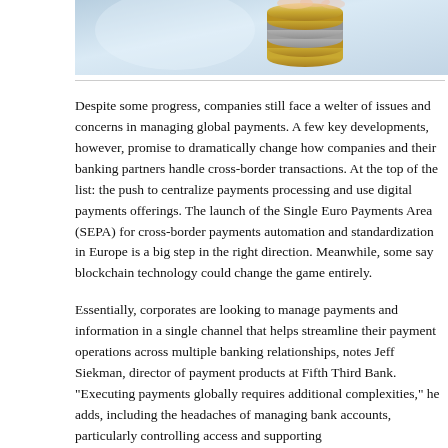[Figure (photo): Partial photo showing a stack of coins (Euro coins) on a light blue background, cropped at the top of the page]
Despite some progress, companies still face a welter of issues and concerns in managing global payments. A few key developments, however, promise to dramatically change how companies and their banking partners handle cross-border transactions. At the top of the list: the push to centralize payments processing and use digital payments offerings. The launch of the Single Euro Payments Area (SEPA) for cross-border payments automation and standardization in Europe is a big step in the right direction. Meanwhile, some say blockchain technology could change the game entirely.
Essentially, corporates are looking to manage payments and information in a single channel that helps streamline their payment operations across multiple banking relationships, notes Jeff Siekman, director of payment products at Fifth Third Bank. "Executing payments globally requires additional complexities," he adds, including the headaches of managing bank accounts, particularly controlling access and supporting